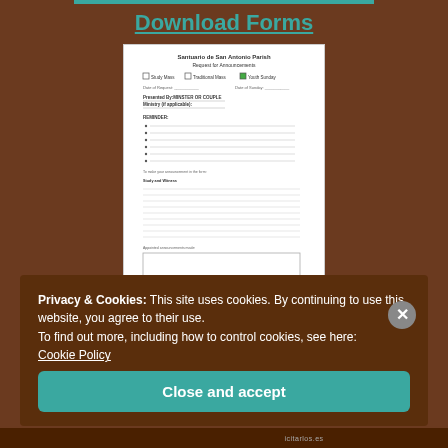Download Forms
[Figure (other): Thumbnail image of a 'Santuario de San Antonio Parish Request for Announcements' form with checkboxes and text fields]
Parish Bulletin
Privacy & Cookies: This site uses cookies. By continuing to use this website, you agree to their use.
To find out more, including how to control cookies, see here: Cookie Policy
Close and accept